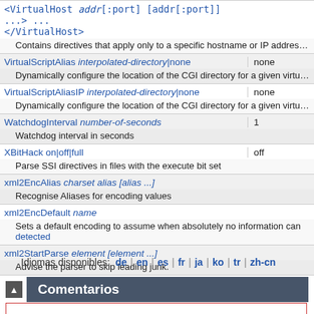| Directive | Default |
| --- | --- |
| <VirtualHost addr[:port] [addr[:port]] ...> ... </VirtualHost> |  |
| Contains directives that apply only to a specific hostname or IP address |  |
| VirtualScriptAlias interpolated-directory|none | none |
| Dynamically configure the location of the CGI directory for a given virtual host |  |
| VirtualScriptAliasIP interpolated-directory|none | none |
| Dynamically configure the location of the CGI directory for a given virtual host |  |
| WatchdogInterval number-of-seconds | 1 |
| Watchdog interval in seconds |  |
| XBitHack on|off|full | off |
| Parse SSI directives in files with the execute bit set |  |
| xml2EncAlias charset alias [alias ...] |  |
| Recognise Aliases for encoding values |  |
| xml2EncDefault name |  |
| Sets a default encoding to assume when absolutely no information can be detected |  |
| xml2StartParse element [element ...] |  |
| Advise the parser to skip leading junk. |  |
Idiomas disponibles: de | en | es | fr | ja | ko | tr | zh-cn
Comentarios